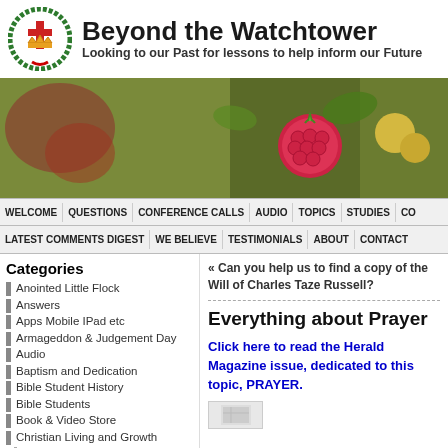Beyond the Watchtower
Looking to our Past for lessons to help inform our Future
[Figure (photo): Banner photo showing red raspberries and fruit on green plant background]
WELCOME | QUESTIONS | CONFERENCE CALLS | AUDIO | TOPICS | STUDIES | CO
LATEST COMMENTS DIGEST | WE BELIEVE | TESTIMONIALS | ABOUT | CONTACT
Categories
Anointed Little Flock
Answers
Apps Mobile IPad etc
Armageddon & Judgement Day
Audio
Baptism and Dedication
Bible Student History
Bible Students
Book & Video Store
Christian Living and Growth
Children
« Can you help us to find a copy of the Will of Charles Taze Russell?
Everything about Prayer
Click here to read the Herald Magazine issue, dedicated to this topic, PRAYER.